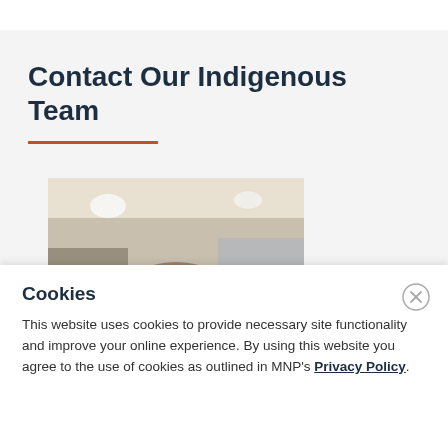Contact Our Indigenous Team
[Figure (photo): Partial photo of a man's head with grey/brown hair in an office or indoor environment with blurred background lighting.]
Cookies
This website uses cookies to provide necessary site functionality and improve your online experience. By using this website you agree to the use of cookies as outlined in MNP's Privacy Policy.